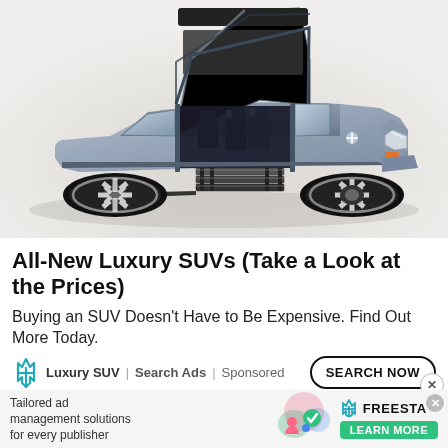[Figure (photo): A large luxury SUV (Lincoln Navigator concept) with gull-wing doors open, revealing three rows of black leather seats and an entry staircase with steps deployed. The vehicle is silver-blue and photographed at an angle showing its stylish turbine-style wheels, on a light grey background.]
All-New Luxury SUVs (Take a Look at the Prices)
Buying an SUV Doesn't Have to Be Expensive. Find Out More Today.
Luxury SUV | Search Ads | Sponsored
[Figure (infographic): Bottom banner advertisement: 'Tailored ad management solutions for every publisher' with FREESTA logo and a LEARN MORE button on a light background with decorative graphic elements.]